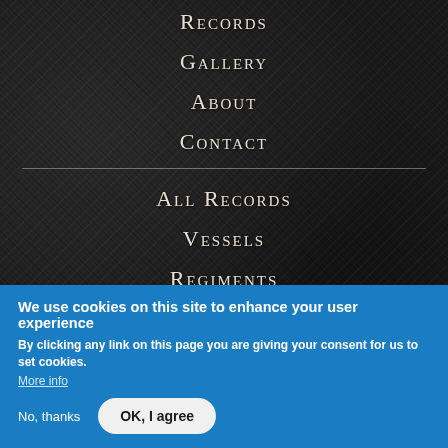Records
Gallery
About
Contact
All Records
Vessels
Regiments
Medals
Resources
We use cookies on this site to enhance your user experience
By clicking any link on this page you are giving your consent for us to set cookies. More info
No, thanks  OK, I agree